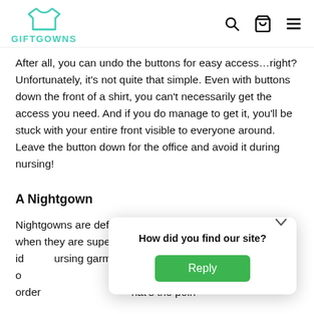GIFTGOWNS
After all, you can undo the buttons for easy access…right? Unfortunately, it's not quite that simple. Even with buttons down the front of a shirt, you can't necessarily get the access you need. And if you do manage to get it, you'll be stuck with your entire front visible to everyone around. Leave the button down for the office and avoid it during nursing!
A Nightgown
Nightgowns are definitely comfortable, however even when they are super cozy they might not be the id... ursing garmen... with snaps o... own up in order... hat's the poin...
[Figure (screenshot): Popup dialog asking 'How did you find our site?' with a green Reply button]